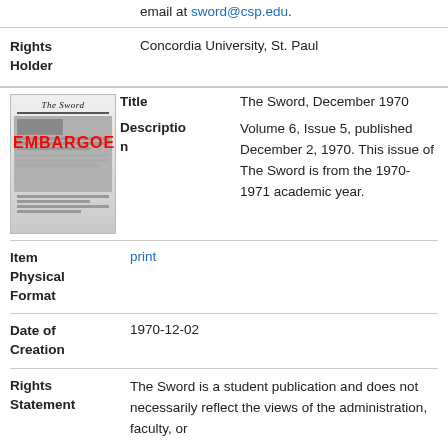email at sword@csp.edu.
Rights Holder: Concordia University, St. Paul
[Figure (photo): Thumbnail image of The Sword newspaper cover with EMBARGOED watermark overlay in red]
Title: The Sword, December 1970
Description: Volume 6, Issue 5, published December 2, 1970. This issue of The Sword is from the 1970-1971 academic year.
Item Physical Format: print
Date of Creation: 1970-12-02
Rights Statement: The Sword is a student publication and does not necessarily reflect the views of the administration, faculty, or